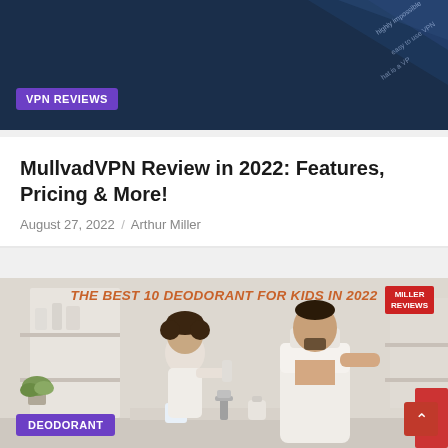[Figure (illustration): Dark navy blue banner with geometric shapes and text about VPN]
VPN REVIEWS
MullvadVPN Review in 2022: Features, Pricing & More!
August 27, 2022 / Arthur Miller
[Figure (photo): Banner image for 'The Best 10 Deodorant for Kids in 2022' with Miller Reviews logo, showing a child applying deodorant spray to a man in a bathroom setting]
THE BEST 10 DEODORANT FOR KIDS IN 2022
DEODORANT